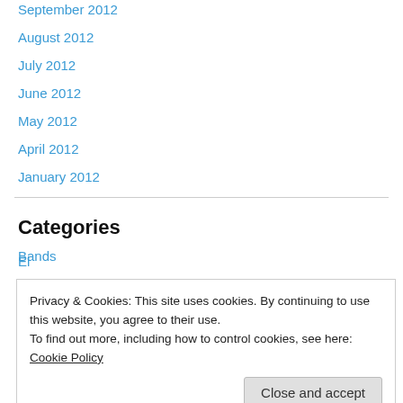September 2012
August 2012
July 2012
June 2012
May 2012
April 2012
January 2012
Categories
Bands
Deceased
Privacy & Cookies: This site uses cookies. By continuing to use this website, you agree to their use.
To find out more, including how to control cookies, see here: Cookie Policy
Press Release